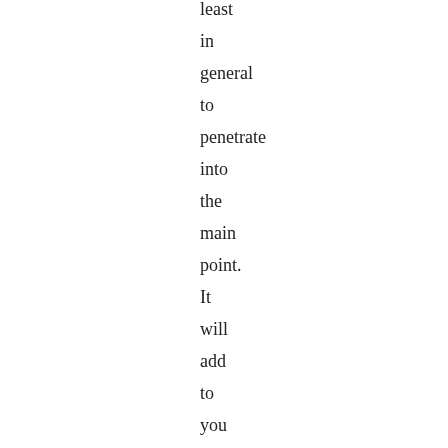least in general to penetrate into the main point. It will add to you authority on eyes of the mechanic, will force to